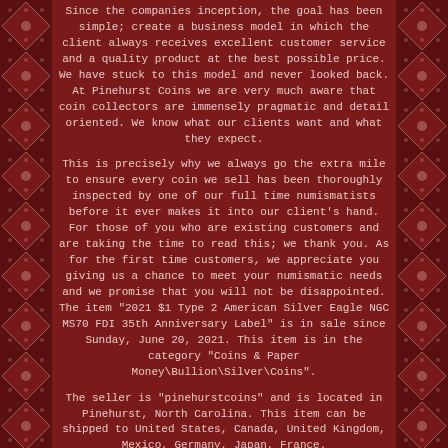Since the companies inception, the goal has been simple; create a business model in which the client always receives excellent customer service and a quality product at the best possible price. We have stuck to this model and never looked back. At Pinehurst Coins we are very much aware that coin collectors are immensely pragmatic and detail oriented. We know what our clients want and what they expect.
This is precisely why we always go the extra mile to ensure every coin we sell has been thoroughly inspected by one of our full time numismatists before it ever makes it into our client's hand. For those of you who are existing customers and are taking the time to read this; we thank you. As for the first time customers, we appreciate you giving us a chance to meet your numismatic needs and we promise that you will not be disappointed. The item "2021 $1 Type 2 American Silver Eagle NGC MS70 FDI 35th Anniversary Label" is in sale since Sunday, June 20, 2021. This item is in the category "Coins & Paper Money\Bullion\Silver\Coins".
The seller is "pinehurstcoins" and is located in Pinehurst, North Carolina. This item can be shipped to United States, Canada, United Kingdom, Mexico, Germany, Japan, France.